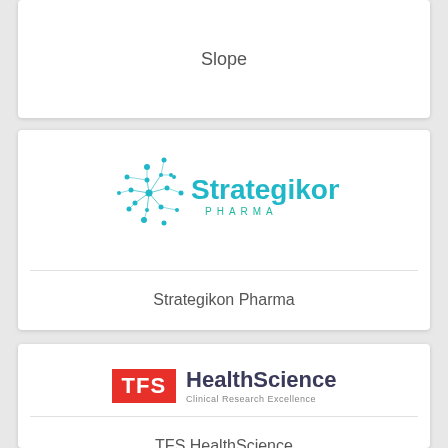Slope
[Figure (logo): Strategikon Pharma logo — teal molecular network icon on the left, 'Strategikon' in large teal text, 'PHARMA' in smaller spaced teal caps below]
Strategikon Pharma
[Figure (logo): TFS HealthScience logo — red square badge with 'TFS' in white bold text, followed by 'HealthScience' in dark navy bold text and 'Clinical Research Excellence' in smaller grey text below]
TFS HealthScience